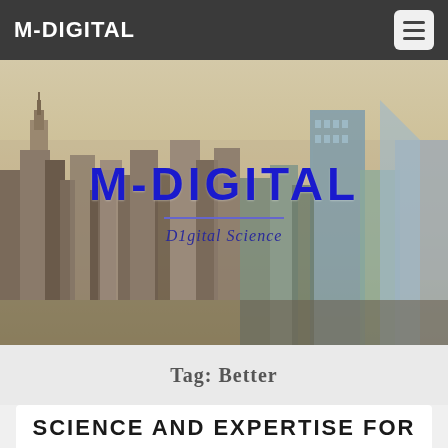M-DIGITAL
[Figure (photo): City skyline photo (New York City aerial view) with M-DIGITAL logo overlay and tagline 'D1gital Science']
Tag: Better
SCIENCE AND EXPERTISE FOR